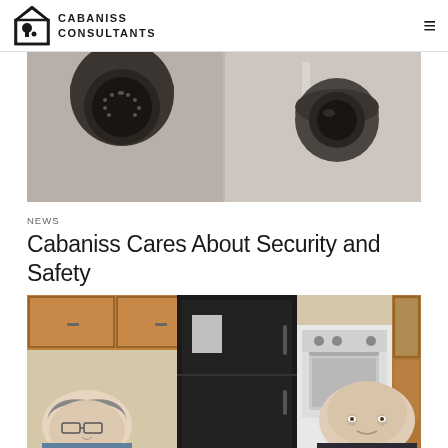CABANISS CONSULTANTS
[Figure (photo): Two security dome cameras mounted on ceiling/wall corners]
NEWS
Cabaniss Cares About Security and Safety
[Figure (photo): Two people in a kitchen setting, one woman with glasses on left and one bald man on right, with kitchen appliances and cabinets in background]